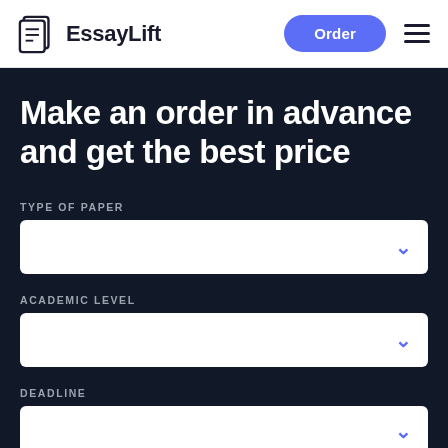EssayLift — Order
Make an order in advance and get the best price
TYPE OF PAPER
[Figure (screenshot): Dropdown selector for Type of Paper]
ACADEMIC LEVEL
[Figure (screenshot): Dropdown selector for Academic Level]
DEADLINE
[Figure (screenshot): Dropdown selector for Deadline]